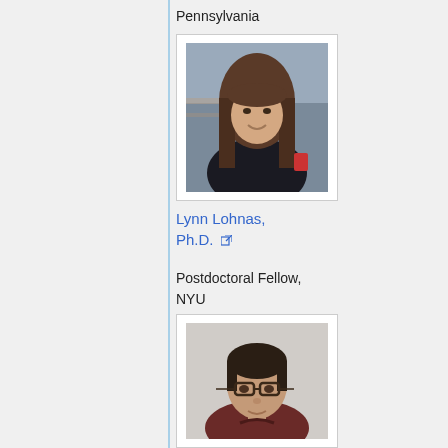Pennsylvania
[Figure (photo): Headshot of a young woman with long brown hair, smiling, wearing a dark top]
Lynn Lohnas, Ph.D. [external link icon]
Postdoctoral Fellow, NYU
[Figure (photo): Headshot of a young man with glasses, short dark hair, wearing a dark red/maroon sweater]